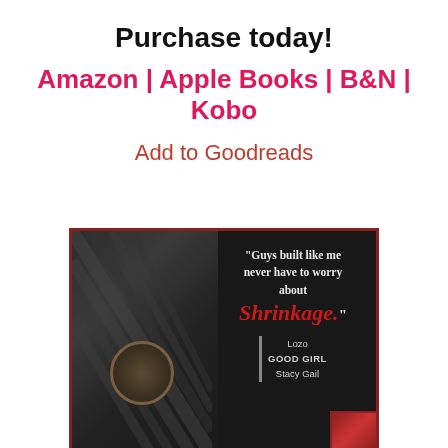Purchase today!
Amazon | Apple Books | B&N | Kobo
Add to Goodreads
[Figure (photo): Book promotional image with dark background showing a man's tattooed arm wearing a watch, overlaid with a quote: 'Guys built like me never have to worry about Shrinkage.' attributed to Lozo, GOOD GIRL by Stacy Gail]